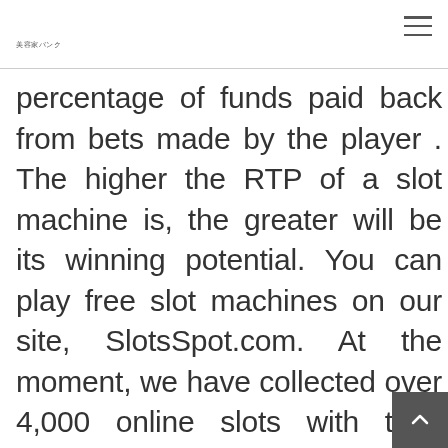美容家バンク
percentage of funds paid back from bets made by the player . The higher the RTP of a slot machine is, the greater will be its winning potential. You can play free slot machines on our site, SlotsSpot.com. At the moment, we have collected over 4,000 online slots with their demo versions available and the possibility to play for free. Please, note that at SlotsSpot all slot games are presented in demo mode, you can try them out for free.